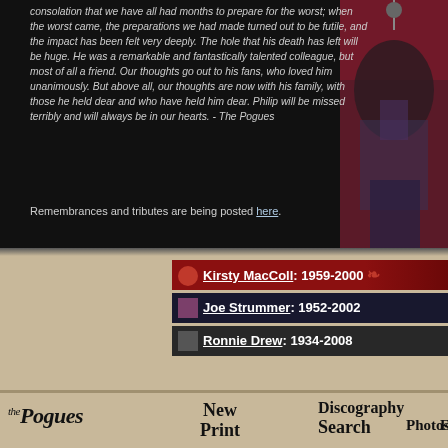consolation that we have all had months to prepare for the worst; when the worst came, the preparations we had made turned out to be futile, and the impact has been felt very deeply. The hole that his death has left will be huge. He was a remarkable and fantastically talented colleague, but most of all a friend. Our thoughts go out to his fans, who loved him unanimously. But above all, our thoughts are now with his family, with those he held dear and who have held him dear. Philip will be missed terribly and will always be in our hearts. - The Pogues
Remembrances and tributes are being posted here.
[Figure (photo): Photo of a man performing on stage with a microphone, wearing a suit jacket, against a red/dark background]
Kirsty MacColl: 1959-2000
Joe Strummer: 1952-2002
Ronnie Drew: 1934-2008
the Pogues   New Print   Discography   Search   Photos   Forum